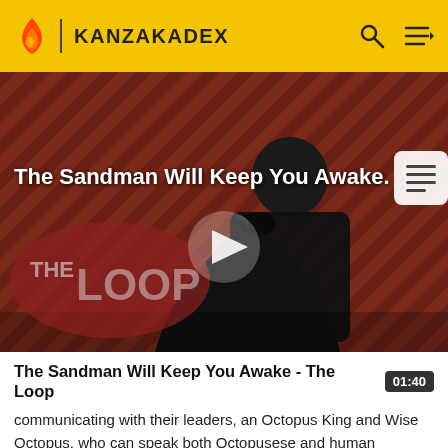KANZAKADEX
[Figure (screenshot): Video thumbnail for 'The Sandman Will Keep You Awake - The Loop' showing a dark-robed figure against a diagonal striped red-brown background with 'THE LOOP' watermark and a play button overlay]
The Sandman Will Keep You Awake - The Loop
communicating with their leaders, an Octopus King and Wise Octopus, who can speak both Octopusese and human language. Wise Octopus announces he has a plan and orders the octopus group to continue collecting